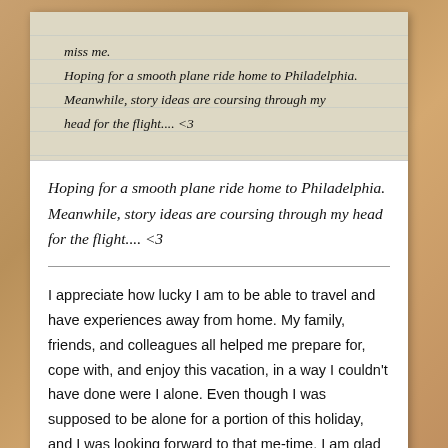[Figure (photo): Photograph of a handwritten note on lined paper reading: 'miss me. Hoping for a smooth plane ride home to Philadelphia. Meanwhile, story ideas are coursing through my head for the flight.... <3']
Hoping for a smooth plane ride home to Philadelphia. Meanwhile, story ideas are coursing through my head for the flight.... <3
I appreciate how lucky I am to be able to travel and have experiences away from home. My family, friends, and colleagues all helped me prepare for, cope with, and enjoy this vacation, in a way I couldn't have done were I alone. Even though I was supposed to be alone for a portion of this holiday, and I was looking forward to that me-time, I am glad that I got to experience it together with my husband, as it became something of a second honeymoon, for us. Adventures that take us to new